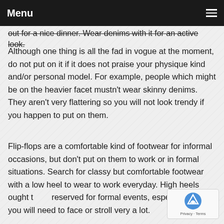Menu
out for a nice dinner. Wear denims with it for an active look.
Although one thing is all the fad in vogue at the moment, do not put on it if it does not praise your physique kind and/or personal model. For example, people which might be on the heavier facet mustn't wear skinny denims. They aren't very flattering so you will not look trendy if you happen to put on them.
Flip-flops are a comfortable kind of footwear for informal occasions, but don't put on them to work or in formal situations. Search for classy but comfortable footwear with a low heel to wear to work everyday. High heels ought to be reserved for formal events, especially should you will need to face or stroll very a lot.